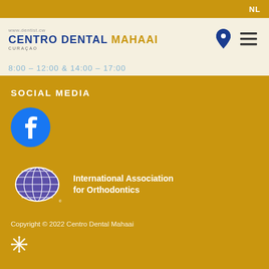NL
[Figure (logo): Centro Dental Mahaai logo with www.dentist.cw URL and CURACAO subtitle]
8:00 - 12:00 & 14:00 - 17:00
SOCIAL MEDIA
[Figure (logo): Facebook logo - blue circle with white f letter]
[Figure (logo): International Association for Orthodontics globe logo - purple/blue globe with white grid lines]
International Association for Orthodontics
Copyright © 2022 Centro Dental Mahaai
[Figure (other): Small decorative snowflake/asterisk icon in white]